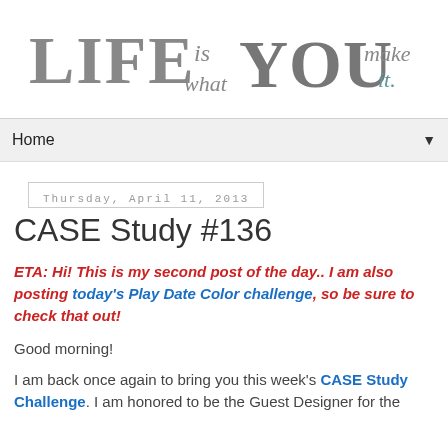[Figure (logo): Blog header logo reading 'LIFE is what YOU make it.' in mixed decorative and italic fonts, gray tones]
Home ▼
Thursday, April 11, 2013
CASE Study #136
ETA: Hi! This is my second post of the day.. I am also posting today's Play Date Color challenge, so be sure to check that out!
Good morning!
I am back once again to bring you this week's CASE Study Challenge. I am honored to be the Guest Designer for the